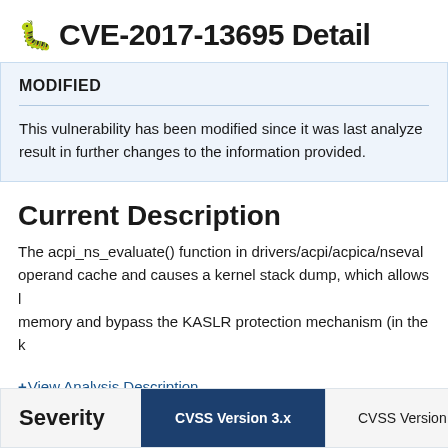CVE-2017-13695 Detail
MODIFIED
This vulnerability has been modified since it was last analyzed. result in further changes to the information provided.
Current Description
The acpi_ns_evaluate() function in drivers/acpi/acpica/nseval operand cache and causes a kernel stack dump, which allows l memory and bypass the KASLR protection mechanism (in the k
+View Analysis Description
| Severity | CVSS Version 3.x | CVSS Version 2.0 |
| --- | --- | --- |